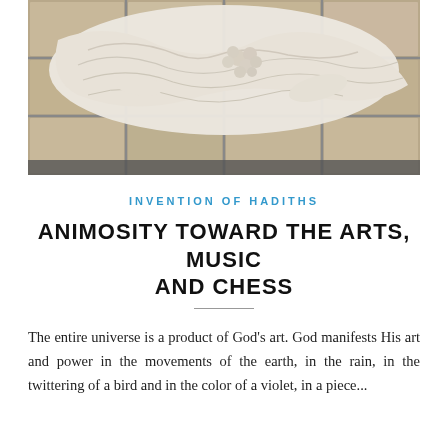[Figure (photo): A white marble statue lying on its back on a tiled floor, showing detailed carved robes and curly hair/grapes detail, viewed from above.]
INVENTION OF HADITHS
ANIMOSITY TOWARD THE ARTS, MUSIC AND CHESS
The entire universe is a product of God's art. God manifests His art and power in the movements of the earth, in the rain, in the twittering of a bird and in the color of a violet, in a piece...